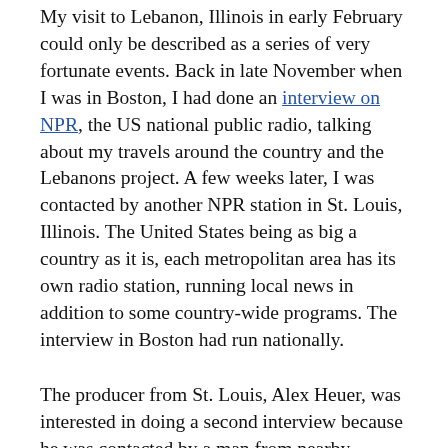My visit to Lebanon, Illinois in early February could only be described as a series of very fortunate events. Back in late November when I was in Boston, I had done an interview on NPR, the US national public radio, talking about my travels around the country and the Lebanons project. A few weeks later, I was contacted by another NPR station in St. Louis, Illinois. The United States being as big a country as it is, each metropolitan area has its own radio station, running local news in addition to some country-wide programs. The interview in Boston had run nationally.
The producer from St. Louis, Alex Heuer, was interested in doing a second interview because he was contacted by a man from nearby Lebanon, Illinois, saying the city had a genuine 'cedar of Lebanon'. As if out of a time gone by, this man from Illinois hadn't emailed the station or phoned them; he took to his typewriter instead and wrote them a letter, including a self-addressed stamped envelope